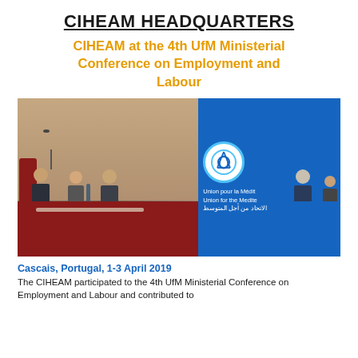CIHEAM HEADQUARTERS
CIHEAM at the 4th UfM Ministerial Conference on Employment and Labour
[Figure (photo): Panel of speakers seated at a conference table with a Union for the Mediterranean banner in the background. Five people visible at the table in a formal meeting room setting.]
Cascais, Portugal, 1-3 April 2019
The CIHEAM participated to the 4th UfM Ministerial Conference on Employment and Labour and contributed to